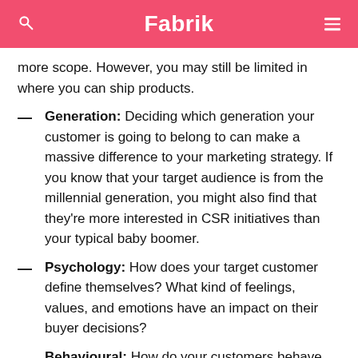Fabrik
more scope. However, you may still be limited in where you can ship products.
Generation: Deciding which generation your customer is going to belong to can make a massive difference to your marketing strategy. If you know that your target audience is from the millennial generation, you might also find that they’re more interested in CSR initiatives than your typical baby boomer.
Psychology: How does your target customer define themselves? What kind of feelings, values, and emotions have an impact on their buyer decisions?
Behavioural: How do your customers behave when interacting with brands? Do they like to follow their favourite companies on social media, or do they prefer face-to-face interactions, for instance?